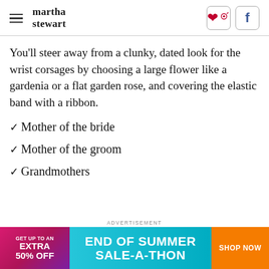martha stewart
You'll steer away from a clunky, dated look for the wrist corsages by choosing a large flower like a gardenia or a flat garden rose, and covering the elastic band with a ribbon.
Mother of the bride
Mother of the groom
Grandmothers
[Figure (infographic): Advertisement banner: End of Summer Sale-A-Thon. GET UP TO AN EXTRA 50% OFF. SHOP NOW button.]